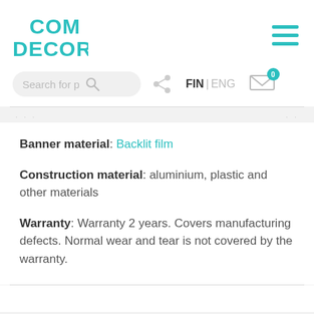[Figure (logo): COM DECOR logo in teal/turquoise bold text, two lines: COM on second line, DECOR below]
[Figure (other): Hamburger menu icon with three teal horizontal bars]
[Figure (other): Search bar with placeholder text 'Search for p' and search icon, share icon, FIN | ENG language selector, and mail icon with badge showing 0]
Banner material: Backlit film
Construction material: aluminium, plastic and other materials
Warranty: Warranty 2 years. Covers manufacturing defects. Normal wear and tear is not covered by the warranty.